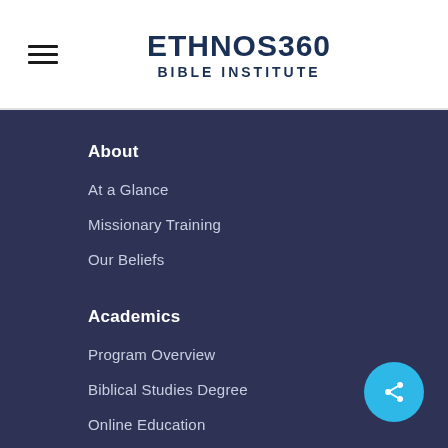[Figure (logo): Ethnos360 Bible Institute logo with hamburger menu icon on the left]
About
At a Glance
Missionary Training
Our Beliefs
Academics
Program Overview
Biblical Studies Degree
Online Education
Mission Trips
Campus Life